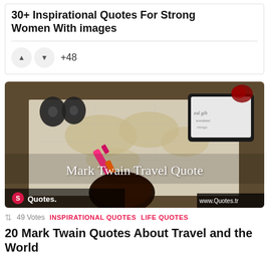30+ Inspirational Quotes For Strong Women With images
+48
[Figure (photo): Overhead photo of a map on a wooden table with binoculars, a pink highlighter, and a tablet device. White text overlay reads 'Mark Twain Travel Quote'. Bottom left shows a pink Quotes logo and www.Quotes.tr watermark.]
49 Votes  INSPIRATIONAL QUOTES  LIFE QUOTES
20 Mark Twain Quotes About Travel and the World